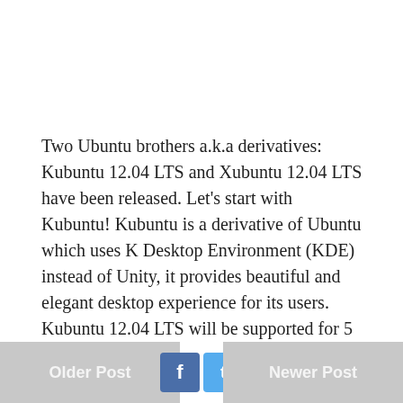Two Ubuntu brothers a.k.a derivatives: Kubuntu 12.04 LTS and Xubuntu 12.04 LTS have been released. Let's start with Kubuntu! Kubuntu is a derivative of Ubuntu which uses K Desktop Environment (KDE) instead of Unity, it provides beautiful and elegant desktop experience for its users. Kubuntu 12.04 LTS will be supported for 5 years.
Older Post   f   t   Newer Post